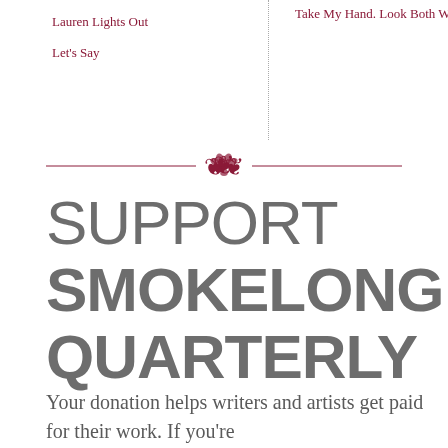Lauren Lights Out
Let's Say
Take My Hand. Look Both Ways.
[Figure (illustration): Ornamental divider with decorative floral/scroll motif in dark red, flanked by horizontal lines on both sides]
SUPPORT SMOKELONG QUARTERLY
Your donation helps writers and artists get paid for their work. If you're